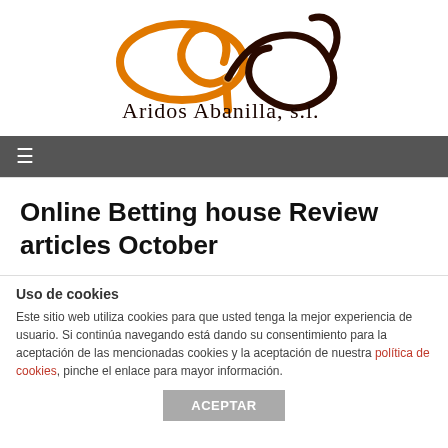[Figure (logo): Aridos Abanilla S.L. logo with orange and dark brown overlapping ring shapes and cursive handwritten company name text]
≡
Online Betting house Review articles October
Uso de cookies
Este sitio web utiliza cookies para que usted tenga la mejor experiencia de usuario. Si continúa navegando está dando su consentimiento para la aceptación de las mencionadas cookies y la aceptación de nuestra política de cookies, pinche el enlace para mayor información.
ACEPTAR